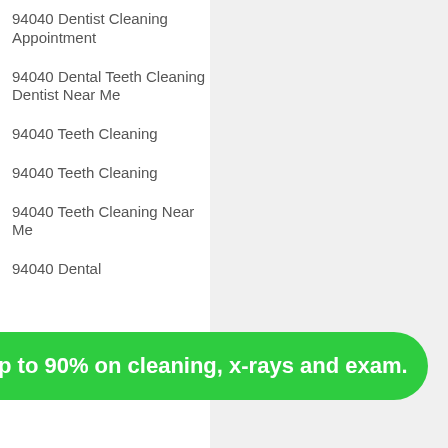94040 Dentist Cleaning Appointment
94040 Dental Teeth Cleaning Dentist Near Me
94040 Teeth Cleaning
94040 Teeth Cleaning
94040 Teeth Cleaning Near Me
94040 Dental
p to 90% on cleaning, x-rays and exam.
94040